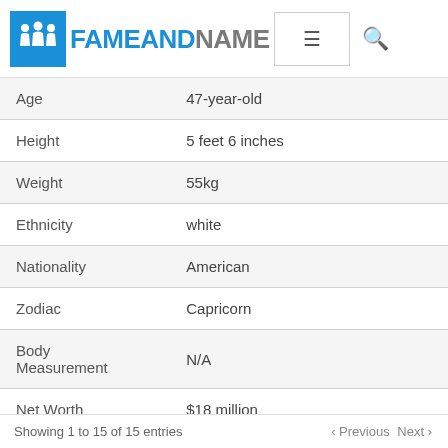FAMEANDNAME
| Field | Value |
| --- | --- |
| Age | 47-year-old |
| Height | 5 feet 6 inches |
| Weight | 55kg |
| Ethnicity | white |
| Nationality | American |
| Zodiac | Capricorn |
| Body Measurement | N/A |
| Net Worth | $18 million |
Showing 1 to 15 of 15 entries   < Previous  Next >